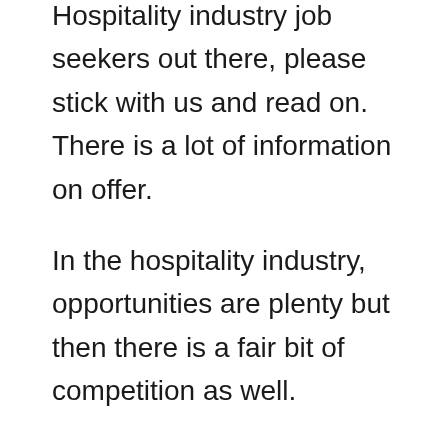Hospitality industry job seekers out there, please stick with us and read on. There is a lot of information on offer.
In the hospitality industry, opportunities are plenty but then there is a fair bit of competition as well.
Thus, hospitality professionals need to go through a rigorous interview process to qualify for a job especially if it is a senior management job.
In this post we will discuss 7 hospitality